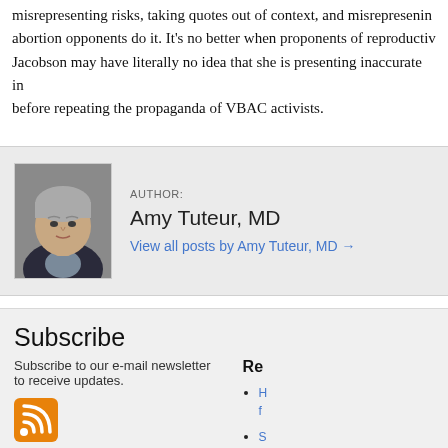misrepresenting risks, taking quotes out of context, and misrepresenting abortion opponents do it. It's no better when proponents of reproductive... Jacobson may have literally no idea that she is presenting inaccurate in... before repeating the propaganda of VBAC activists.
[Figure (photo): Author photo of Amy Tuteur, MD — a woman with short grey hair]
AUTHOR:
Amy Tuteur, MD
View all posts by Amy Tuteur, MD →
Subscribe
Subscribe to our e-mail newsletter to receive updates.
[Figure (other): RSS feed icon — orange square with white wifi-style signal lines]
Re
H... f...
S... f...
P...